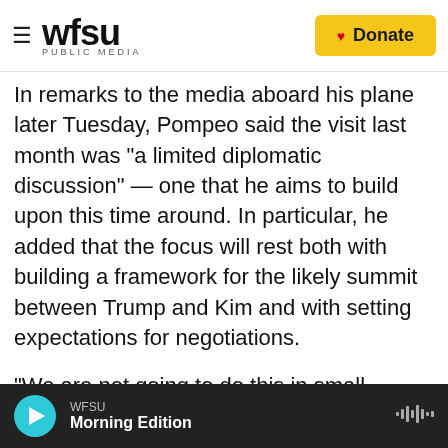WFSU PUBLIC MEDIA | Donate
In remarks to the media aboard his plane later Tuesday, Pompeo said the visit last month was "a limited diplomatic discussion" — one that he aims to build upon this time around. In particular, he added that the focus will rest both with building a framework for the likely summit between Trump and Kim and with setting expectations for negotiations.
"We are not going to do this in small increments, where the world is essentially coerced into relieving economic pressure. That won't lead to the outcome that I know Kim Jong Un wants and I know President Trump wants," Pompeo said.
WFSU Morning Edition